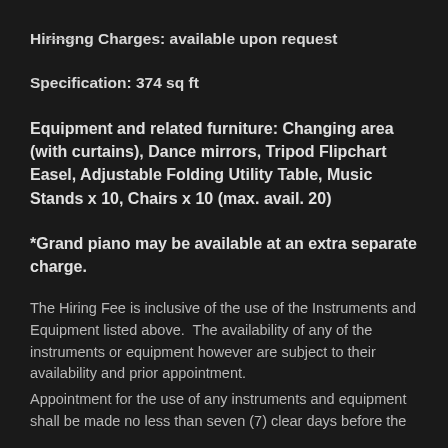Hiring Charges: available upon request
Specification: 374 sq ft
Equipment and related furniture: Changing area (with curtains), Dance mirrors, Tripod Flipchart Easel, Adjustable Folding Utility Table, Music Stands x 10, Chairs x 10 (max. avail. 20)
*Grand piano may be available at an extra separate charge.
The Hiring Fee is inclusive of the use of the Instruments and Equipment listed above.  The availability of any of the instruments or equipment however are subject to their availability and prior appointment.
Appointment for the use of any instruments and equipment shall be made no less than seven (7) clear days before the